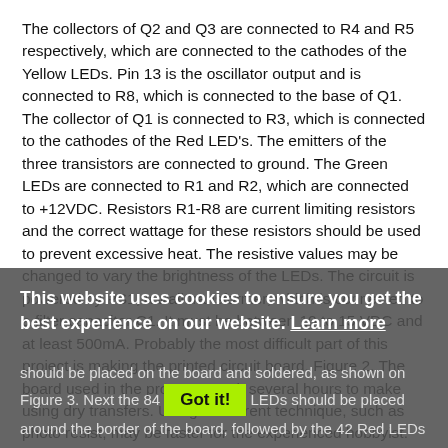The collectors of Q2 and Q3 are connected to R4 and R5 respectively, which are connected to the cathodes of the Yellow LEDs. Pin 13 is the oscillator output and is connected to R8, which is connected to the base of Q1. The collector of Q1 is connected to R3, which is connected to the cathodes of the Red LED's. The emitters of the three transistors are connected to ground. The Green LEDs are connected to R1 and R2, which are connected to +12VDC. Resistors R1-R8 are current limiting resistors and the correct wattage for these resistors should be used to prevent excessive heat. The resistive values may be changed to vary the brightness of the LEDs. The circuit is powered by PS1, a wall transformer, which is connected to a filter capacitor C1. It must be between 10 to 15 VDC and at least 500mA. Probably the most difficult part of this project is making the printed circuit board, Figure 2. The board used in the prototype took several hours to make using dry transfers. Using a different technique, such as photo resist, may be faster for the experienced hobbyist. Once the board is etched and drilled, the jumper wires should be placed on the board and soldered, as shown on Figure 3. Next the 84 Yellow LEDs should be placed around the border of the board, followed by the 42 Red LEDs that make up the heart and then the 16 Green LEDs that make up the letters L and U. Resistors R1-R9 and capacitors
This website uses cookies to ensure you get the best experience on our website. Learn more
Got it!